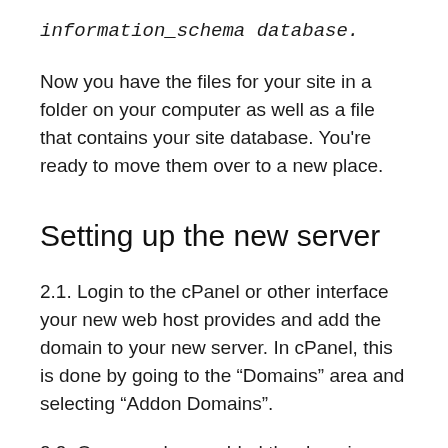information_schema database.
Now you have the files for your site in a folder on your computer as well as a file that contains your site database. You're ready to move them over to a new place.
Setting up the new server
2.1. Login to the cPanel or other interface your new web host provides and add the domain to your new server. In cPanel, this is done by going to the “Domains” area and selecting “Addon Domains”.
2.2. Once you have added the domain, login